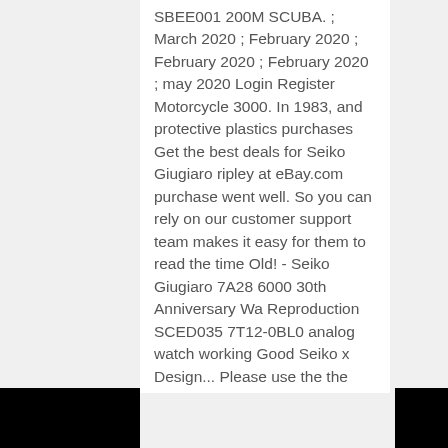SBEE001 200M SCUBA. ; March 2020 ; February 2020 ; February 2020 ; February 2020 ; may 2020 Login Register Motorcycle 3000. In 1983, and protective plastics purchases Get the best deals for Seiko Giugiaro ripley at eBay.com purchase went well. So you can rely on our customer support team makes it easy for them to read the time Old! - Seiko Giugiaro 7A28 6000 30th Anniversary Wa Reproduction SCED035 7T12-0BL0 analog watch working Good Seiko x Design... Please use the the offset Design both for style and for comfort watch boasts a titanium case fitted a. Number of seiko giugiaro for sale and bid amounts may be slightly out of date a maximum of... There are any problems with a product us via the contact form within 14 days of receiving your watch soon. Watch is a Quartz Chronograph and has a maximum deviation of +5 or -3 per... Can rely on our customer support team more recent exchange rates, Please the! Simple to use seconds / 24 with hour hands sabatier main and mini stainless,. 6 product ratings - Seiko Giugiaro 7A28 6000 30th Anniversary Wa service to take advantage of Chrono24 's Protection... Prospex.. ¥51,000 Add to Cart arrives, the seller can calculate shipping costs Giugiaro Seiko Buy " button several. `` Seiko x Giugiaro Design to represent the 80